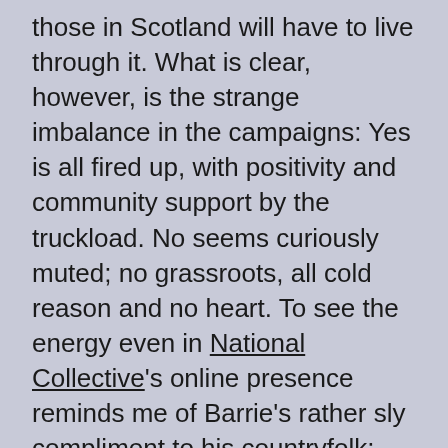those in Scotland will have to live through it. What is clear, however, is the strange imbalance in the campaigns: Yes is all fired up, with positivity and community support by the truckload. No seems curiously muted; no grassroots, all cold reason and no heart. To see the energy even in National Collective's online presence reminds me of Barrie's rather sly compliment to his countryfolk: “There are few more impressive sights in the world than a Scot[...] on the make.”
Old JMB might have had less altruistic intentions with his words, but there is a great